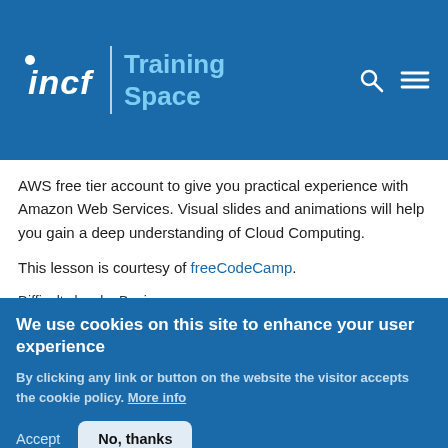INCF Training Space
AWS free tier account to give you practical experience with Amazon Web Services. Visual slides and animations will help you gain a deep understanding of Cloud Computing.
This lesson is courtesy of freeCodeCamp.
Difficulty level:   Beginner
Duration: 05:27:20
Speaker: :
We use cookies on this site to enhance your user experience
By clicking any link or button on the website the visitor accepts the cookie policy. More info
Accept   No, thanks